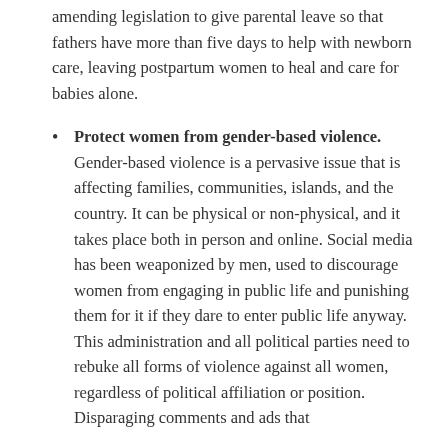amending legislation to give parental leave so that fathers have more than five days to help with newborn care, leaving postpartum women to heal and care for babies alone.
Protect women from gender-based violence. Gender-based violence is a pervasive issue that is affecting families, communities, islands, and the country. It can be physical or non-physical, and it takes place both in person and online. Social media has been weaponized by men, used to discourage women from engaging in public life and punishing them for it if they dare to enter public life anyway. This administration and all political parties need to rebuke all forms of violence against all women, regardless of political affiliation or position. Disparaging comments and ads that